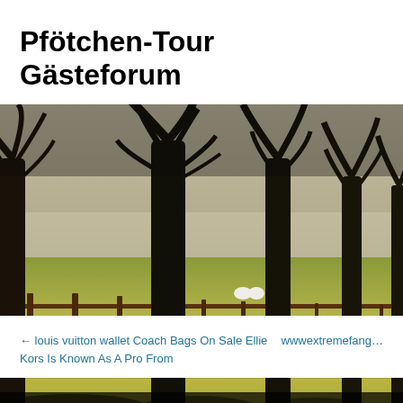Pfötchen-Tour Gästeforum
[Figure (photo): Outdoor landscape photograph showing a row of large bare trees along a wooden fence, with green grass in the foreground and misty background with two white sheep visible in the distance.]
Home    roll crusher
← louis vuitton wallet Coach Bags On Sale Ellie Kors Is Known As A Pro From
wwwextremefan...